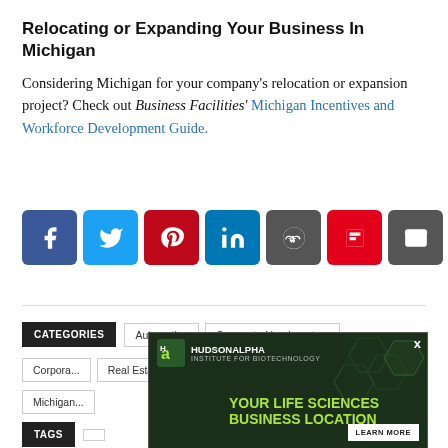Relocating or Expanding Your Business In Michigan
Considering Michigan for your company's relocation or expansion project? Check out Business Facilities' Michigan Incentives and Workforce Development Guide.
[Figure (infographic): Social media share buttons row: Facebook (blue), Twitter (blue), Pinterest (red), LinkedIn (blue), Reddit (dark grey), Flipboard (red), Email (grey), Print (dark grey), Copy (grey)]
CATEGORIES  Automotive  Corporate Headquarters
Corporate...  Real Estate...  Site Selection...  Corporate...  Manufactu...
Michigan...
TAGS
[Figure (infographic): HudsonAlpha Institute for Biotechnology advertisement overlay: 'Your Life Sciences Business Location' with Learn More button, dark green background with hexagon pattern and scientist photo, X close button]